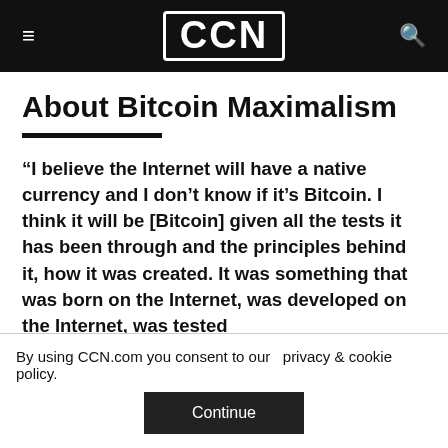CCN
About Bitcoin Maximalism
“I believe the Internet will have a native currency and I don’t know if it’s Bitcoin. I think it will be [Bitcoin] given all the tests it has been through and the principles behind it, how it was created. It was something that was born on the Internet, was developed on the Internet, was tested
By using CCN.com you consent to our  privacy & cookie policy.
Continue